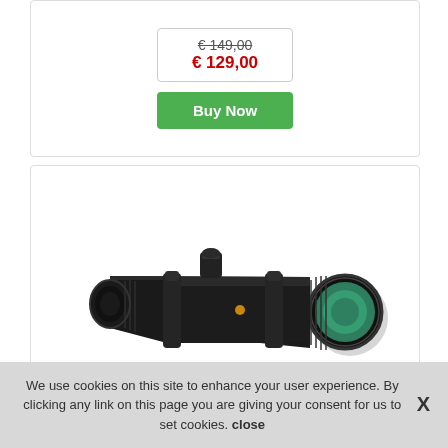€ 149,00 (strikethrough) / € 129,00 (red)
Buy Now
[Figure (photo): A rifle scope / riflescope, black, oriented diagonally with the objective lens (green tinted) on the right side, shown on a white background.]
We use cookies on this site to enhance your user experience. By clicking any link on this page you are giving your consent for us to set cookies. close